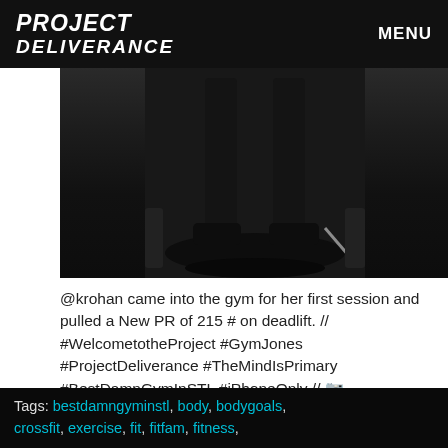PROJECT DELIVERANCE   MENU
[Figure (photo): Dark gym floor photo showing person's legs and feet standing on lifting platform, black and white/dark tones]
@krohan came into the gym for her first session and pulled a New PR of 215 # on deadlift. // #WelcometotheProject #GymJones #ProjectDeliverance #TheMindIsPrimary #BestDamnGymInSTL #iPhoneOnly // 📷 @horsepowerandbarbells
Tags: bestdamngyminstl, body, bodygoals, crossfit, exercise, fit, fitfam, fitness,